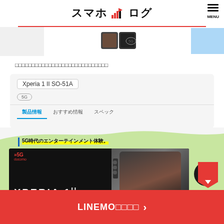スマホYlllログ
□□□□□□□□□□□□□□□□□□□□□□□□□□□□
Xperia 1 II SO-51A
製品情報　おすすめ情報　スペック
5G時代のエンターテインメント体験。
[Figure (screenshot): Xperia 1 II smartphone promotional image with 5G docomo branding on dark background]
LINEMO□□□□ >